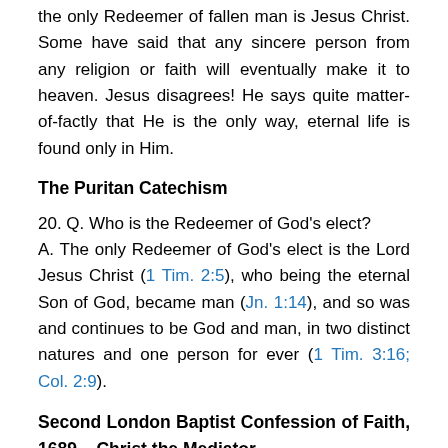the only Redeemer of fallen man is Jesus Christ. Some have said that any sincere person from any religion or faith will eventually make it to heaven. Jesus disagrees! He says quite matter-of-factly that He is the only way, eternal life is found only in Him.
The Puritan Catechism
20. Q. Who is the Redeemer of God’s elect?
A. The only Redeemer of God’s elect is the Lord Jesus Christ (1 Tim. 2:5), who being the eternal Son of God, became man (Jn. 1:14), and so was and continues to be God and man, in two distinct natures and one person for ever (1 Tim. 3:16; Col. 2:9).
Second London Baptist Confession of Faith, 1689 – Christ the Mediator
The Lord Jesus, had it in of tender love and sacrifice f